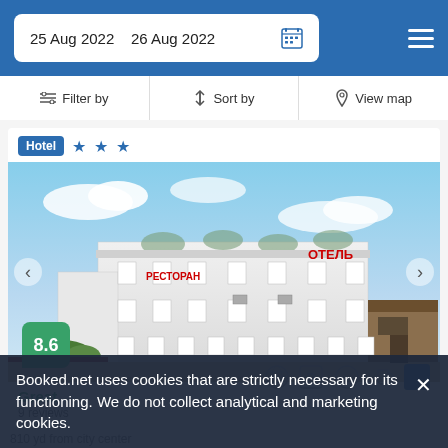25 Aug 2022   26 Aug 2022
Filter by   Sort by   View map
[Figure (screenshot): Exterior photo of a white multi-story hotel building with red Cyrillic signage, blue sky and clouds in the background, with a restaurant/cafe entrance on the right]
Great
9 reviews
Booked.net uses cookies that are strictly necessary for its functioning. We do not collect analytical and marketing cookies.
810 yd from city center
1200 yd from Tyumen Scientific Library
There are lots of nice features and the hotel is situated